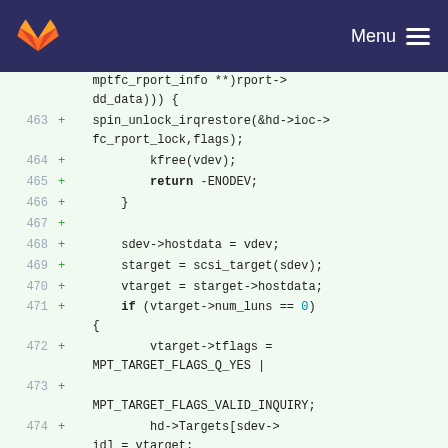GitLab Menu
Code diff viewer showing lines 463-474 of a C source file with added lines (marked with +) including: spin_unlock_irqrestore, kfree, return -ENODEV, sdev->hostdata = vdev, starget = scsi_target(sdev), vtarget = starget->hostdata, if (vtarget->num_luns == 0), vtarget->tflags = MPT_TARGET_FLAGS_Q_YES | MPT_TARGET_FLAGS_VALID_INQUIRY, hd->Targets[sdev->id] = vtarget